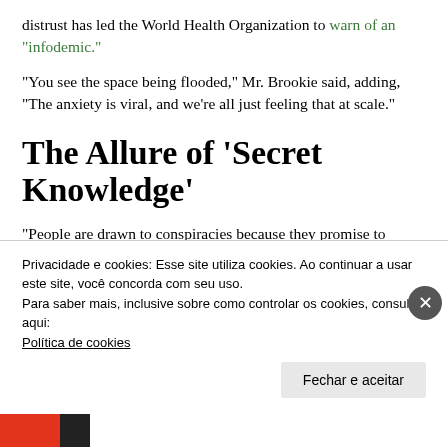distrust has led the World Health Organization to warn of an “infodemic.”
“You see the space being flooded,” Mr. Brookie said, adding, “The anxiety is viral, and we’re all just feeling that at scale.”
The Allure of ‘Secret Knowledge’
“People are drawn to conspiracies because they promise to satisfy certain psychological motives that are important to people,” Dr. Brookie said. She focuses on the cross-...
Privacidade e cookies: Esse site utiliza cookies. Ao continuar a usar este site, você concorda com seu uso.
Para saber mais, inclusive sobre como controlar os cookies, consulte aqui:
Política de cookies
Fechar e aceitar